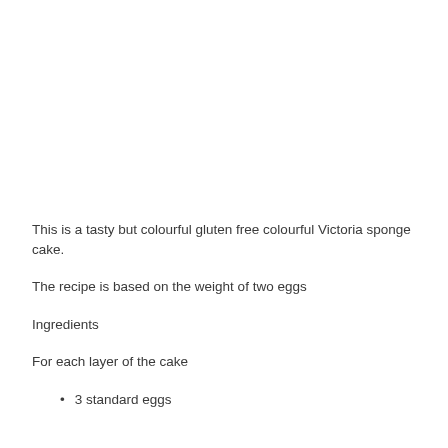This is a tasty but colourful gluten free colourful Victoria sponge cake.
The recipe is based on the weight of two eggs
Ingredients
For each layer of the cake
3 standard eggs